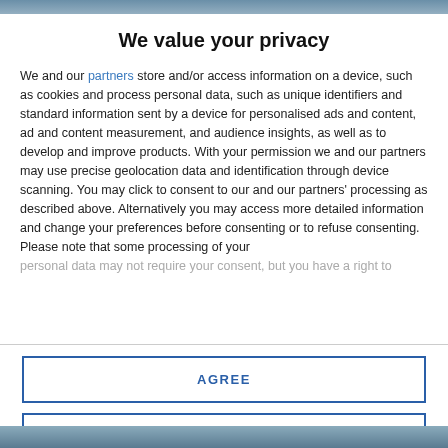[Figure (photo): Partial photo visible at top of page, blurred/cropped background image]
We value your privacy
We and our partners store and/or access information on a device, such as cookies and process personal data, such as unique identifiers and standard information sent by a device for personalised ads and content, ad and content measurement, and audience insights, as well as to develop and improve products. With your permission we and our partners may use precise geolocation data and identification through device scanning. You may click to consent to our and our partners' processing as described above. Alternatively you may access more detailed information and change your preferences before consenting or to refuse consenting. Please note that some processing of your personal data may not require your consent, but you have a right to
AGREE
MORE OPTIONS
[Figure (photo): Partial photo visible at bottom of page, blurred/cropped background image]